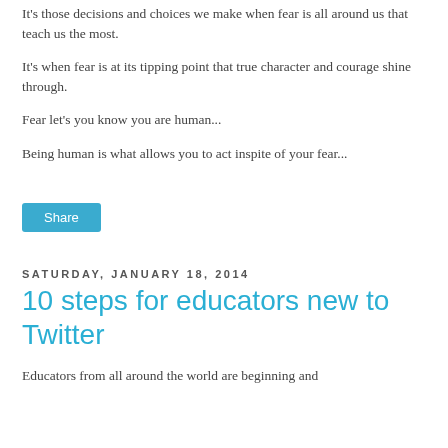It's those decisions and choices we make when fear is all around us that teach us the most.
It's when fear is at its tipping point that true character and courage shine through.
Fear let's you know you are human...
Being human is what allows you to act inspite of your fear...
Share
Saturday, January 18, 2014
10 steps for educators new to Twitter
Educators from all around the world are beginning and